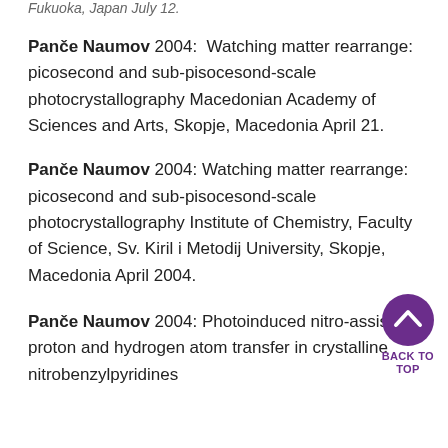Fukuoka, Japan July 12.
Panče Naumov 2004: Watching matter rearrange: picosecond and sub-pisocesond-scale photocrystallography Macedonian Academy of Sciences and Arts, Skopje, Macedonia April 21.
Panče Naumov 2004: Watching matter rearrange: picosecond and sub-pisocesond-scale photocrystallography Institute of Chemistry, Faculty of Science, Sv. Kiril i Metodij University, Skopje, Macedonia April 2004.
Panče Naumov 2004: Photoinduced nitro-assisted proton and hydrogen atom transfer in crystalline nitrobenzylpyridines